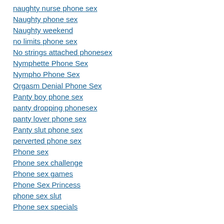naughty nurse phone sex
Naughty phone sex
Naughty weekend
no limits phone sex
No strings attached phonesex
Nymphette Phone Sex
Nympho Phone Sex
Orgasm Denial Phone Sex
Panty boy phone sex
panty dropping phonesex
panty lover phone sex
Panty slut phone sex
perverted phone sex
Phone sex
Phone sex challenge
Phone sex games
Phone Sex Princess
phone sex slut
Phone sex specials